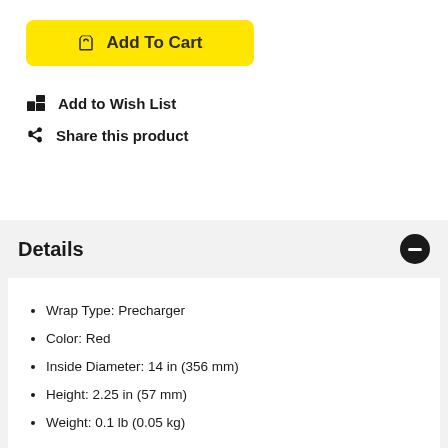🛒 Add To Cart
🎁 Add to Wish List
↗ Share this product
Details
Wrap Type: Precharger
Color: Red
Inside Diameter: 14 in (356 mm)
Height: 2.25 in (57 mm)
Weight: 0.1 lb (0.05 kg)